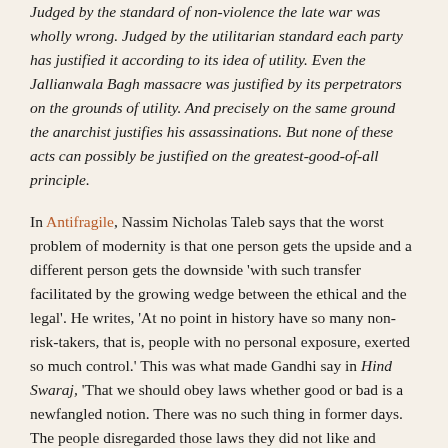Judged by the standard of non-violence the late war was wholly wrong. Judged by the utilitarian standard each party has justified it according to its idea of utility. Even the Jallianwala Bagh massacre was justified by its perpetrators on the grounds of utility. And precisely on the same ground the anarchist justifies his assassinations. But none of these acts can possibly be justified on the greatest-good-of-all principle.
In Antifragile, Nassim Nicholas Taleb says that the worst problem of modernity is that one person gets the upside and a different person gets the downside 'with such transfer facilitated by the growing wedge between the ethical and the legal'. He writes, 'At no point in history have so many non-risk-takers, that is, people with no personal exposure, exerted so much control.' This was what made Gandhi say in Hind Swaraj, 'That we should obey laws whether good or bad is a newfangled notion. There was no such thing in former days. The people disregarded those laws they did not like and suffered the penalties for their breach…. So long as the superstition that men should obey unjust laws exists, so long will their slavery exist.'